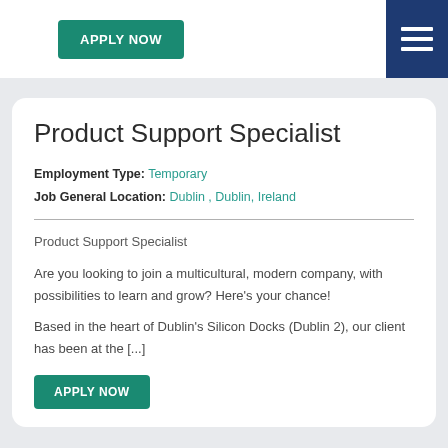[Figure (other): Green 'APPLY NOW' button in top navigation bar]
[Figure (other): Dark blue hamburger menu icon in top right corner]
Product Support Specialist
Employment Type: Temporary
Job General Location: Dublin , Dublin, Ireland
Product Support Specialist
Are you looking to join a multicultural, modern company, with possibilities to learn and grow? Here's your chance!
Based in the heart of Dublin's Silicon Docks (Dublin 2), our client has been at the [...]